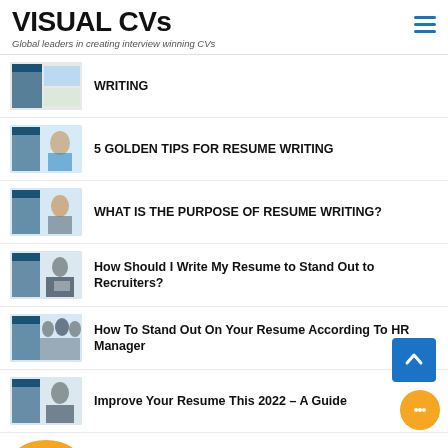VISUAL CVs — Global leaders in creating interview winning CVs
WRITING
5 GOLDEN TIPS FOR RESUME WRITING
WHAT IS THE PURPOSE OF RESUME WRITING?
How Should I Write My Resume to Stand Out to Recruiters?
How To Stand Out On Your Resume According To HR Manager
Improve Your Resume This 2022 – A Guide
Three Ways to Make Your Resume More Personal